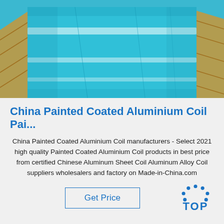[Figure (photo): Photo of blue painted/coated aluminium coils rolled flat, viewed from above at an angle, showing shiny cyan/turquoise blue surface with white light reflections, placed on wooden pallets.]
China Painted Coated Aluminium Coil Pai...
China Painted Coated Aluminium Coil manufacturers - Select 2021 high quality Painted Coated Aluminium Coil products in best price from certified Chinese Aluminum Sheet Coil Aluminum Alloy Coil suppliers wholesalers and factory on Made-in-China.com
[Figure (logo): TOP logo: arc of blue dots forming a triangle/arch shape above the word TOP in bold blue capital letters with a stylized O.]